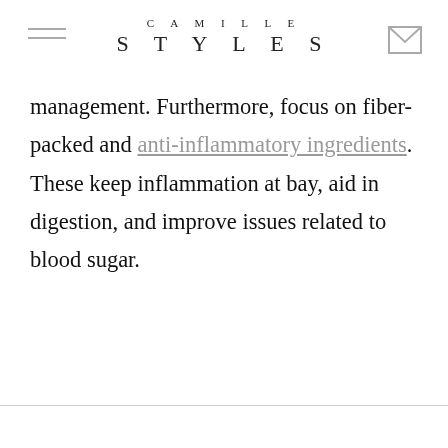CAMILLE STYLES
management. Furthermore, focus on fiber-packed and anti-inflammatory ingredients. These keep inflammation at bay, aid in digestion, and improve issues related to blood sugar.